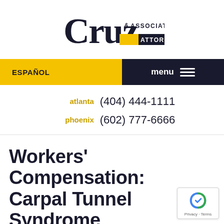[Figure (logo): Cruz & Associates Attorneys logo with large stylized 'Cruz' text and yellow/navy color scheme]
ESPAÑOL  menu
atlanta (404) 444-1111
phoenix (602) 777-6666
Workers' Compensation: Carpal Tunnel Syndrome Attorneys in Phoenix